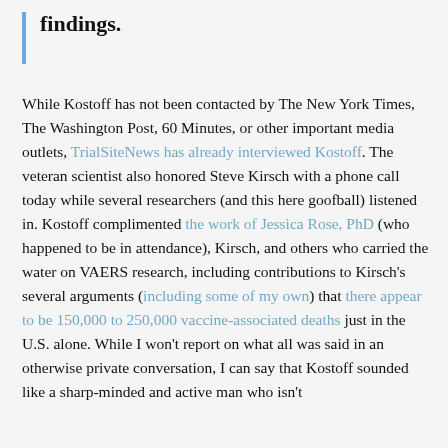findings.
While Kostoff has not been contacted by The New York Times, The Washington Post, 60 Minutes, or other important media outlets, TrialSiteNews has already interviewed Kostoff. The veteran scientist also honored Steve Kirsch with a phone call today while several researchers (and this here goofball) listened in. Kostoff complimented the work of Jessica Rose, PhD (who happened to be in attendance), Kirsch, and others who carried the water on VAERS research, including contributions to Kirsch's several arguments (including some of my own) that there appear to be 150,000 to 250,000 vaccine-associated deaths just in the U.S. alone. While I won't report on what all was said in an otherwise private conversation, I can say that Kostoff sounded like a sharp-minded and active man who isn't